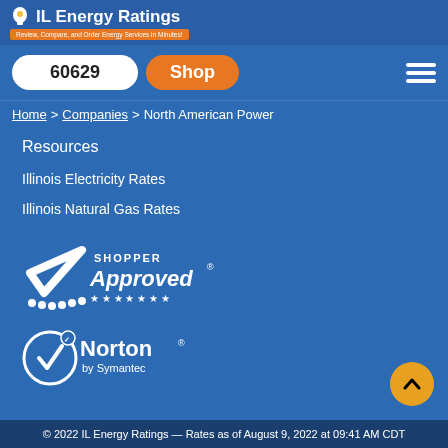IL Energy Ratings — Review, Compare, and Order Energy Services in Minutes!
60629  Shop
Home > Companies > North American Power
Resources
Illinois Electricity Rates
Illinois Natural Gas Rates
[Figure (logo): Shopper Approved badge with checkmark and stars]
[Figure (logo): Norton by Symantec badge with checkmark]
© 2022 IL Energy Ratings — Rates as of August 9, 2022 at 09:41 AM CDT